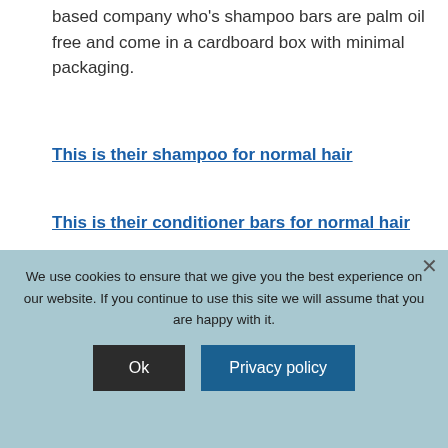based company who's shampoo bars are palm oil free and come in a cardboard box with minimal packaging.
This is their shampoo for normal hair
This is their conditioner bars for normal hair
[Figure (photo): Product image with light background and a green product partially visible at the bottom]
We use cookies to ensure that we give you the best experience on our website. If you continue to use this site we will assume that you are happy with it.
Ok
Privacy policy